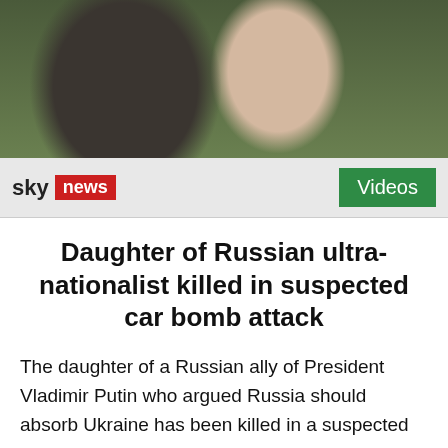[Figure (photo): Photo of two people, an older man with grey hair and beard wearing a black patterned top, and a young woman smiling, with green foliage in the background]
sky news | Videos
Daughter of Russian ultra-nationalist killed in suspected car bomb attack
The daughter of a Russian ally of President Vladimir Putin who argued Russia should absorb Ukraine has been killed in a suspected car bomb attack. Darya Dugina and her father Alexander Dugin had been attending a festival outside Moscow and Ms Dugin had decided to switch cars at the last minute, a Russian government newspaper